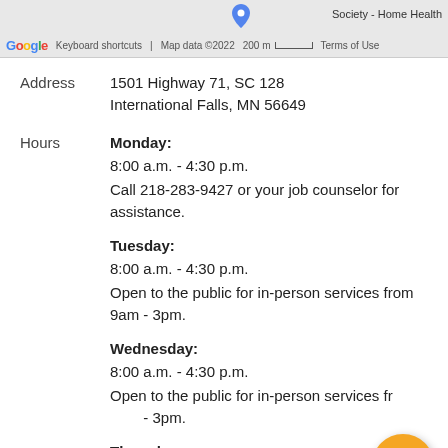[Figure (screenshot): Google Maps bar showing logo, keyboard shortcuts, map data 2022, 200m scale bar, Terms of Use, and a Society - Home Health label with map pin]
Address   1501 Highway 71, SC 128
              International Falls, MN 56649
Hours
Monday:
8:00 a.m. - 4:30 p.m.
Call 218-283-9427 or your job counselor for assistance.

Tuesday:
8:00 a.m. - 4:30 p.m.
Open to the public for in-person services from 9am - 3pm.

Wednesday:
8:00 a.m. - 4:30 p.m.
Open to the public for in-person services from 9am - 3pm.

Thursday:
8:00 a.m. - 4:30 p.m.